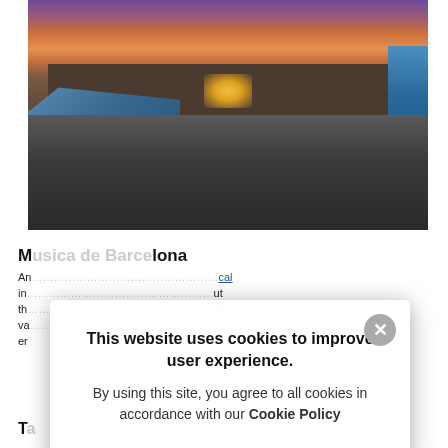[Figure (photo): Aerial view of a large outdoor music festival crowd at dusk/sunset with vivid purple and orange sky. A large building/venue is in the background with blue tents/canopies on the left and stage lights visible. Thousands of people fill the open-air space.]
M[usica de Barcelona / partially obscured]
An[...] ical in[...] ut th[...] z, va[...] er[...]
[Figure (screenshot): Cookie consent modal dialog overlay on the page. Contains close button (X), bold heading 'This website uses cookies to improve user experience.' and body text 'By using this site, you agree to all cookies in accordance with our Cookie Policy']
T[...partially obscured...]